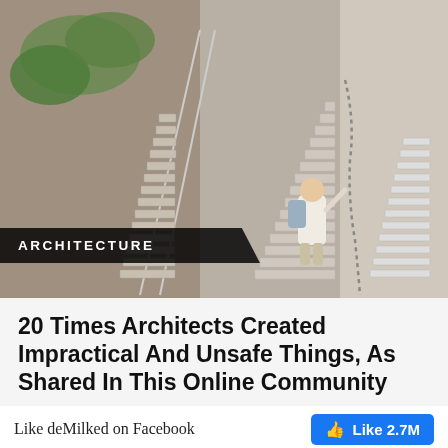[Figure (photo): Steep stone staircase carved into a rocky cliff face. A person with a backpack is climbing the stairs on the right side, holding chains attached to the wall for support. There are two sets of stairs visible, both very steep, with lush greenery on the left.]
ARCHITECTURE
20 Times Architects Created Impractical And Unsafe Things, As Shared In This Online Community
[Figure (photo): Partial view of ground/outdoor surface, partially cut off at bottom of page.]
Like deMilked on Facebook
Like 2.7M